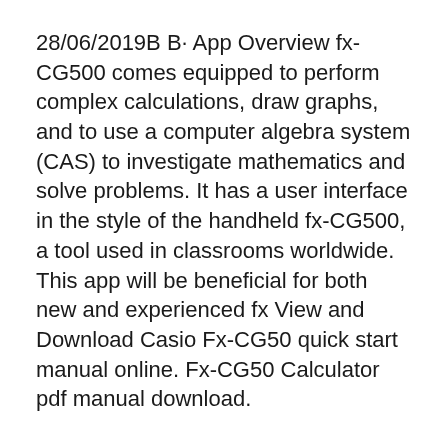28/06/2019B B· App Overview fx-CG500 comes equipped to perform complex calculations, draw graphs, and to use a computer algebra system (CAS) to investigate mathematics and solve problems. It has a user interface in the style of the handheld fx-CG500, a tool used in classrooms worldwide. This app will be beneficial for both new and experienced fx View and Download Casio Fx-CG50 quick start manual online. Fx-CG50 Calculator pdf manual download.
Casio's fx-CG500 PRIZM is from the family of Graphing View and Download Casio Fx-CG50 quick start manual